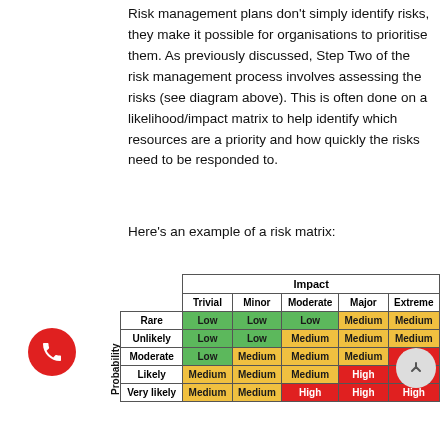Risk management plans don't simply identify risks, they make it possible for organisations to prioritise them. As previously discussed, Step Two of the risk management process involves assessing the risks (see diagram above). This is often done on a likelihood/impact matrix to help identify which resources are a priority and how quickly the risks need to be responded to.
Here's an example of a risk matrix:
|  | Trivial | Minor | Moderate | Major | Extreme |
| --- | --- | --- | --- | --- | --- |
| Rare | Low | Low | Low | Medium | Medium |
| Unlikely | Low | Low | Medium | Medium | Medium |
| Moderate | Low | Medium | Medium | Medium | High |
| Likely | Medium | Medium | Medium | High | High |
| Very likely | Medium | Medium | High | High | High |